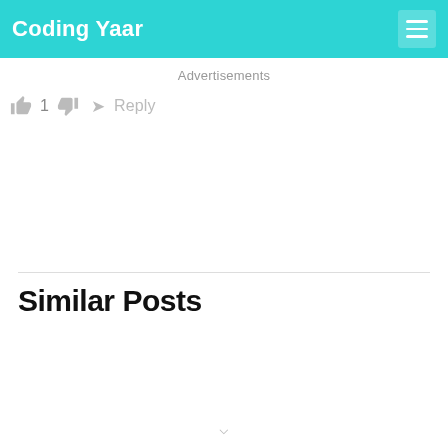Coding Yaar
Advertisements
👍 1 👎 ➜ Reply
Similar Posts